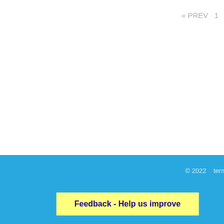« PREV  1  2
© 2022  term
Feedback - Help us improve